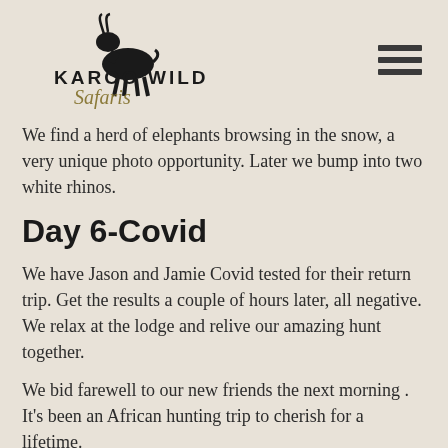[Figure (logo): Karoo Wild Safaris logo with antelope silhouette and menu hamburger icon]
We find a herd of elephants browsing in the snow, a very unique photo opportunity. Later we bump into two white rhinos.
Day 6-Covid
We have Jason and Jamie Covid tested for their return trip. Get the results a couple of hours later, all negative. We relax at the lodge and relive our amazing hunt together.
We bid farewell to our new friends the next morning . It's been an African hunting trip to cherish for a lifetime.